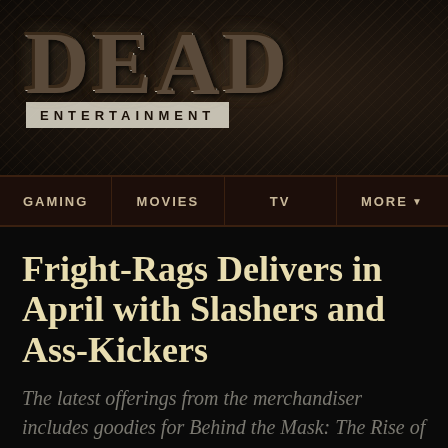[Figure (logo): Dead Entertainment logo — large distressed 'DEAD' text with 'ENTERTAINMENT' banner below, on dark textured background]
GAMING | MOVIES | TV | MORE
Fright-Rags Delivers in April with Slashers and Ass-Kickers
The latest offerings from the merchandiser includes goodies for Behind the Mask: The Rise of Leslie Vernon and Big Trouble in Little China.